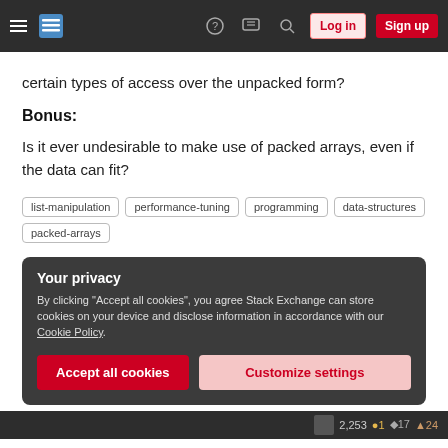Stack Exchange navigation bar with hamburger menu, logo, help, chat, search, Log in, Sign up buttons
certain types of access over the unpacked form?
Bonus:
Is it ever undesirable to make use of packed arrays, even if the data can fit?
list-manipulation  performance-tuning  programming  data-structures  packed-arrays
Your privacy
By clicking "Accept all cookies", you agree Stack Exchange can store cookies on your device and disclose information in accordance with our Cookie Policy.
Accept all cookies  Customize settings
2,253 ●1 ◆17 ▲24